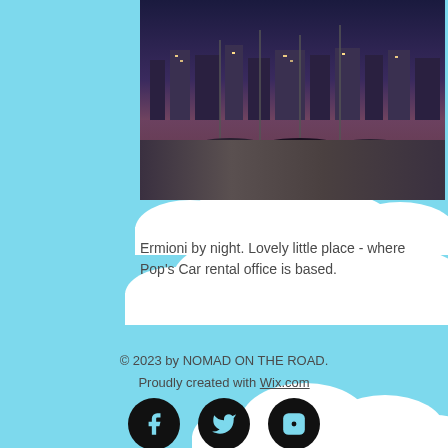[Figure (photo): Night photo of Ermioni marina with boats docked, lights reflecting on water, buildings in background at dusk]
Ermioni by night. Lovely little place - where Pop's Car rental office is based.
© 2023 by NOMAD ON THE ROAD. Proudly created with Wix.com
[Figure (other): Social media icons - Facebook, Twitter, Instagram - black circles with light blue icons]